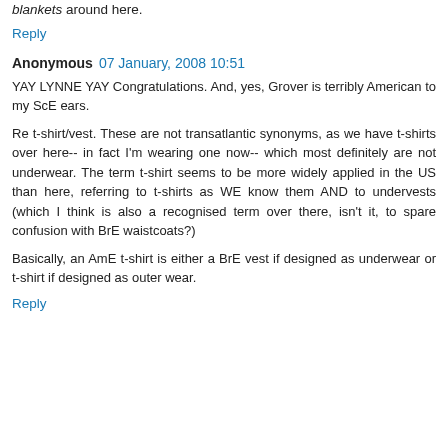blankets around here.
Reply
Anonymous 07 January, 2008 10:51
YAY LYNNE YAY Congratulations. And, yes, Grover is terribly American to my ScE ears.
Re t-shirt/vest. These are not transatlantic synonyms, as we have t-shirts over here-- in fact I'm wearing one now-- which most definitely are not underwear. The term t-shirt seems to be more widely applied in the US than here, referring to t-shirts as WE know them AND to undervests (which I think is also a recognised term over there, isn't it, to spare confusion with BrE waistcoats?)
Basically, an AmE t-shirt is either a BrE vest if designed as underwear or t-shirt if designed as outer wear.
Reply